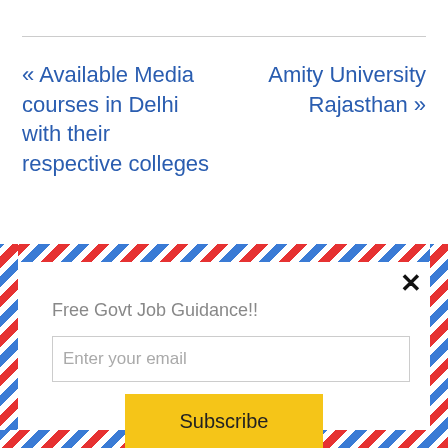« Available Media courses in Delhi with their respective colleges
Amity University Rajasthan »
Free Govt Job Guidance!!
Enter your email
Subscribe
powered by MailMunch